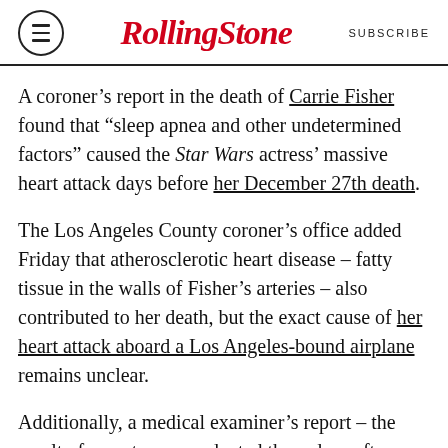Rolling Stone | SUBSCRIBE
A coroner's report in the death of Carrie Fisher found that “sleep apnea and other undetermined factors” caused the Star Wars actress’ massive heart attack days before her December 27th death.
The Los Angeles County coroner’s office added Friday that atherosclerotic heart disease – fatty tissue in the walls of Fisher’s arteries – also contributed to her death, but the exact cause of her heart attack aboard a Los Angeles-bound airplane remains unclear.
Additionally, a medical examiner’s report – the result of an autopsy conducted three days after Fisher’s death – revealed signs of “multiple drug